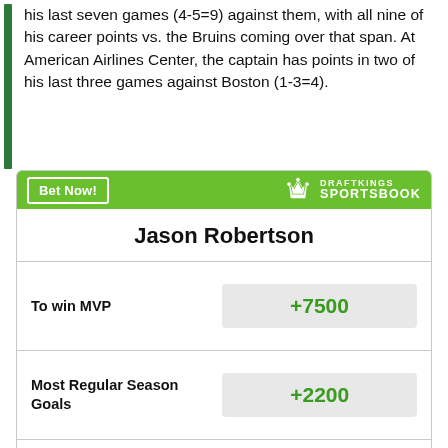his last seven games (4-5=9) against them, with all nine of his career points vs. the Bruins coming over that span. At American Airlines Center, the captain has points in two of his last three games against Boston (1-3=4).
[Figure (other): DraftKings Sportsbook betting widget for Jason Robertson showing odds: To win MVP +7500, Most Regular Season Goals +2200]